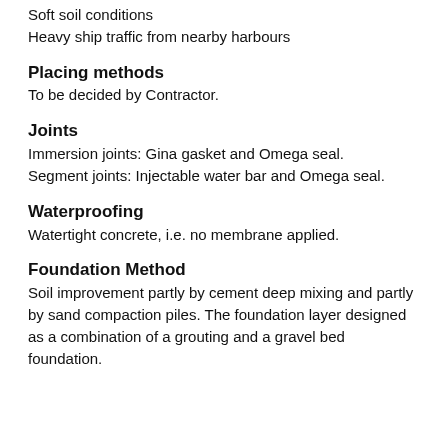Soft soil conditions
Heavy ship traffic from nearby harbours
Placing methods
To be decided by Contractor.
Joints
Immersion joints: Gina gasket and Omega seal.
Segment joints: Injectable water bar and Omega seal.
Waterproofing
Watertight concrete, i.e. no membrane applied.
Foundation Method
Soil improvement partly by cement deep mixing and partly by sand compaction piles. The foundation layer designed as a combination of a grouting and a gravel bed foundation.